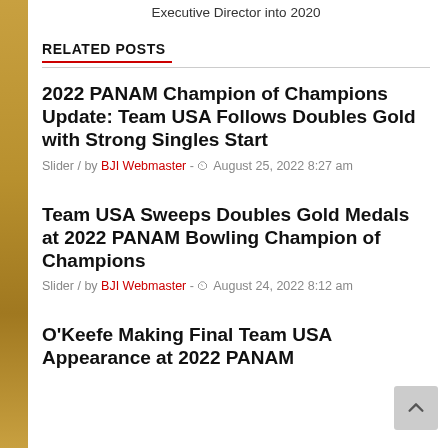Executive Director into 2020
RELATED POSTS
2022 PANAM Champion of Champions Update: Team USA Follows Doubles Gold with Strong Singles Start
Slider / by BJI Webmaster - August 25, 2022 8:27 am
Team USA Sweeps Doubles Gold Medals at 2022 PANAM Bowling Champion of Champions
Slider / by BJI Webmaster - August 24, 2022 8:12 am
O'Keefe Making Final Team USA Appearance at 2022 PANAM